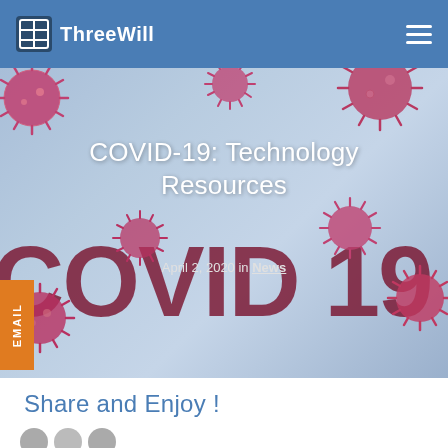ThreeWill
[Figure (photo): COVID-19 hero banner image showing pink/red virus balls on a light blue background with large dark red COVID 19 text and white overlay text reading COVID-19: Technology Resources, dated April 2, 2020 in News]
COVID-19: Technology Resources
April 2, 2020 in News
Share and Enjoy !